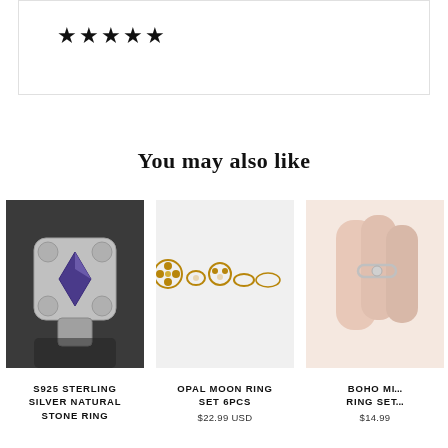★★★★★
You may also like
[Figure (photo): S925 Sterling Silver Natural Stone Ring product photo on dark background]
S925 STERLING SILVER NATURAL STONE RING
[Figure (photo): Opal Moon Ring Set 6pcs product photo showing 6 gold rings on light background]
OPAL MOON RING SET 6PCS
$22.99 USD
[Figure (photo): Boho M... Ring Se... product photo partially visible]
BOHO M... RING SE...
$14.99